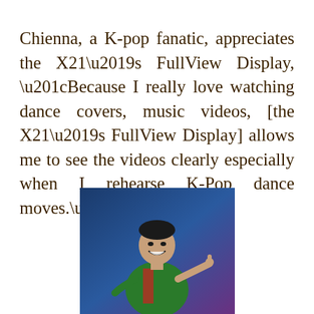Chienna, a K-pop fanatic, appreciates the X21's FullView Display, “Because I really love watching dance covers, music videos, [the X21’s FullView Display] allows me to see the videos clearly especially when I rehearse K-Pop dance moves.”
[Figure (photo): A man smiling and pointing, wearing a colorful outfit, against a blue and purple background.]